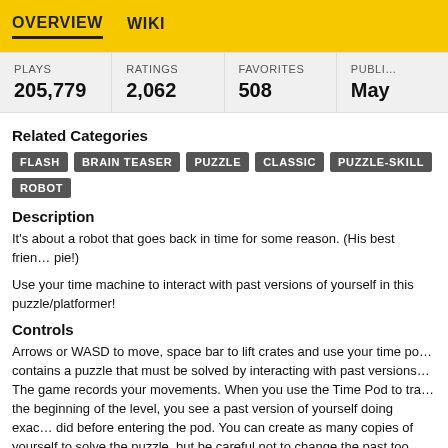OVERVIEW  WIKI
| PLAYS | RATINGS | FAVORITES | PUBLI… |
| --- | --- | --- | --- |
| 205,779 | 2,062 | 508 | May |
Related Categories
FLASH
BRAIN TEASER
PUZZLE
CLASSIC
PUZZLE-SKILL
ROBOT
Description
It's about a robot that goes back in time for some reason. (His best frien… pie!)
Use your time machine to interact with past versions of yourself in this puzzle/platformer!
Controls
Arrows or WASD to move, space bar to lift crates and use your time po… contains a puzzle that must be solved by interacting with past versions… The game records your movements. When you use the Time Pod to tra… the beginning of the level, you see a past version of yourself doing exac… did before entering the pod. You can create as many copies of yourself … to solve the puzzle, but be careful not to change the past too much. If y…